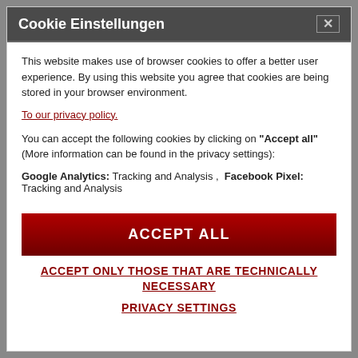Cookie Einstellungen
This website makes use of browser cookies to offer a better user experience. By using this website you agree that cookies are being stored in your browser environment.
To our privacy policy.
You can accept the following cookies by clicking on "Accept all" (More information can be found in the privacy settings):
Google Analytics: Tracking and Analysis ,  Facebook Pixel: Tracking and Analysis
ACCEPT ALL
ACCEPT ONLY THOSE THAT ARE TECHNICALLY NECESSARY
PRIVACY SETTINGS